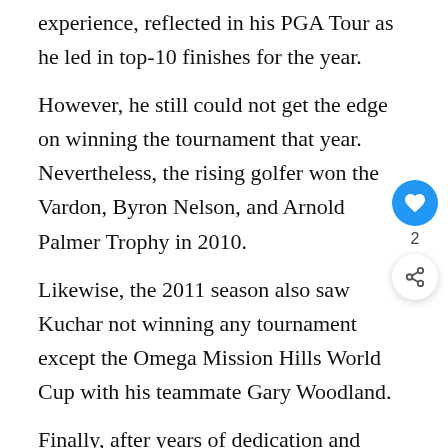experience, reflected in his PGA Tour as he led in top-10 finishes for the year.
However, he still could not get the edge on winning the tournament that year. Nevertheless, the rising golfer won the Vardon, Byron Nelson, and Arnold Palmer Trophy in 2010.
Likewise, the 2011 season also saw Kuchar not winning any tournament except the Omega Mission Hills World Cup with his teammate Gary Woodland.
Finally, after years of dedication and practice, h won his first major tournament at TPC Sawgrass,